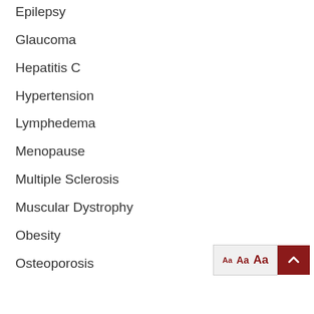Epilepsy
Glaucoma
Hepatitis C
Hypertension
Lymphedema
Menopause
Multiple Sclerosis
Muscular Dystrophy
Obesity
Osteoporosis
[Figure (screenshot): Font size selector widget with 'Aa Aa Aa' labels in dark red and a dark red up-arrow button]